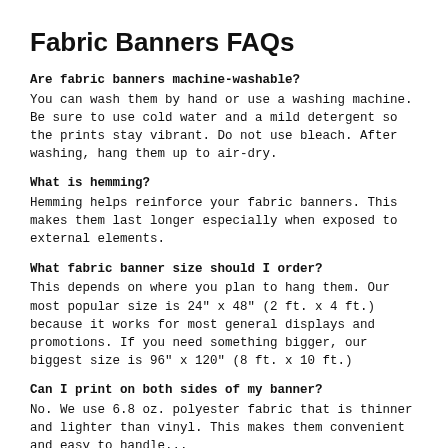Fabric Banners FAQs
Are fabric banners machine-washable?
You can wash them by hand or use a washing machine. Be sure to use cold water and a mild detergent so the prints stay vibrant. Do not use bleach. After washing, hang them up to air-dry.
What is hemming?
Hemming helps reinforce your fabric banners. This makes them last longer especially when exposed to external elements.
What fabric banner size should I order?
This depends on where you plan to hang them. Our most popular size is 24" x 48" (2 ft. x 4 ft.) because it works for most general displays and promotions. If you need something bigger, our biggest size is 96" x 120" (8 ft. x 10 ft.)
Can I print on both sides of my banner?
No. We use 6.8 oz. polyester fabric that is thinner and lighter than vinyl. This makes them convenient and easy to handle...